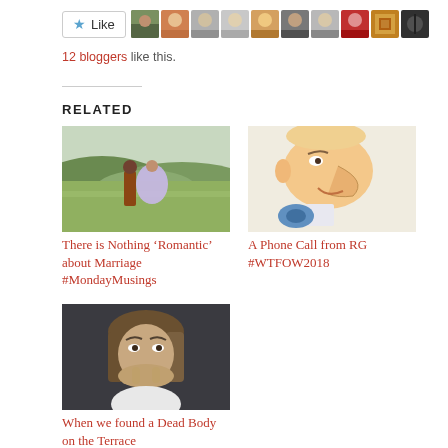[Figure (other): Like button with star icon and row of blogger avatar thumbnails]
12 bloggers like this.
RELATED
[Figure (photo): Couple in a flower field, woman in lavender dress]
There is Nothing ‘Romantic’ about Marriage #MondayMusings
[Figure (illustration): Caricature of a man with an exaggerated nose, smiling, holding a blue object]
A Phone Call from RG #WTFOW2018
[Figure (photo): Woman with hand over mouth, surprised expression, dark background]
When we found a Dead Body on the Terrace